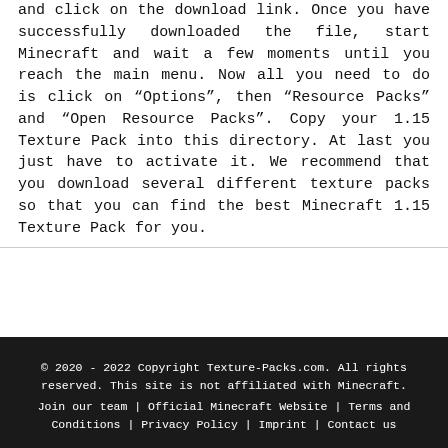and click on the download link. Once you have successfully downloaded the file, start Minecraft and wait a few moments until you reach the main menu. Now all you need to do is click on “Options”, then “Resource Packs” and “Open Resource Packs”. Copy your 1.15 Texture Pack into this directory. At last you just have to activate it. We recommend that you download several different texture packs so that you can find the best Minecraft 1.15 Texture Pack for you.
© 2020 - 2022 Copyright Texture-Packs.com. All rights reserved. This site is not affiliated with Minecraft. Join our team | Official Minecraft Website | Terms and Conditions | Privacy Policy | Imprint | Contact us